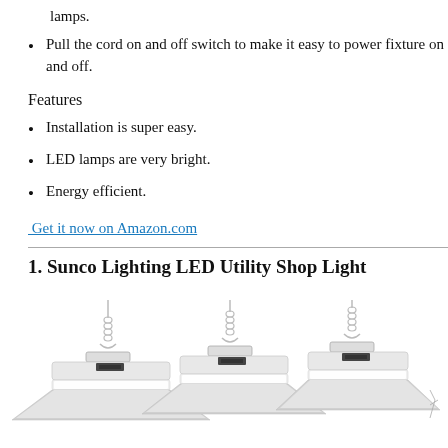lamps.
Pull the cord on and off switch to make it easy to power fixture on and off.
Features
Installation is super easy.
LED lamps are very bright.
Energy efficient.
Get it now on Amazon.com
1. Sunco Lighting LED Utility Shop Light
[Figure (photo): Three white LED utility shop lights hanging from chains against a white background]